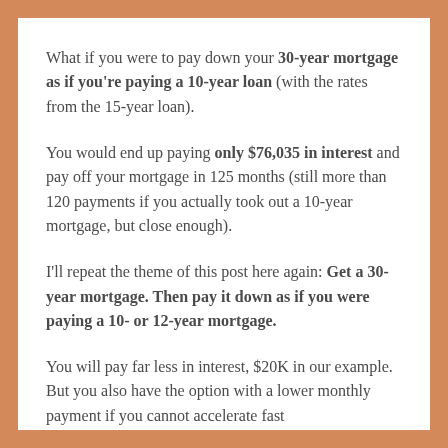What if you were to pay down your 30-year mortgage as if you're paying a 10-year loan (with the rates from the 15-year loan).
You would end up paying only $76,035 in interest and pay off your mortgage in 125 months (still more than 120 payments if you actually took out a 10-year mortgage, but close enough).
I'll repeat the theme of this post here again: Get a 30-year mortgage. Then pay it down as if you were paying a 10- or 12-year mortgage.
You will pay far less in interest, $20K in our example. But you also have the option with a lower monthly payment if you cannot accelerate fast